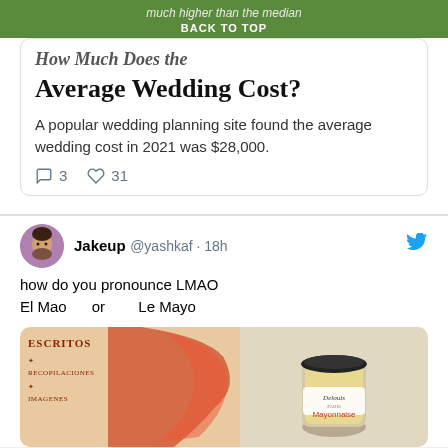much higher than the median
BACK TO TOP
How Much Does the Average Wedding Cost?
A popular wedding planning site found the average wedding cost in 2021 was $28,000.
3  31
Jakeup @yashkaf · 18h
how do you pronounce LMAO
El Mao   or   Le Mayo
[Figure (photo): Two images side by side: left shows a Spanish-language book cover with text 'ESCRITOS', 'RECOPILACIONES', 'IMAGENES' with orange/red map graphic; right shows a jar of Mayonnaise labeled 'Delouis' brand]